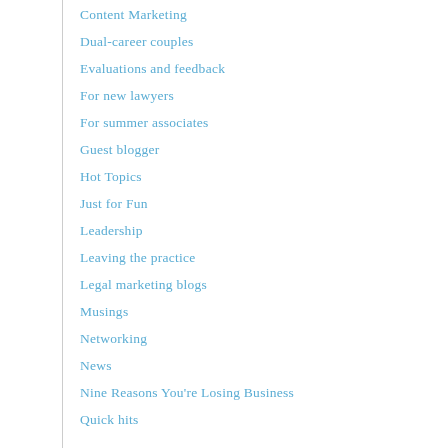Content Marketing
Dual-career couples
Evaluations and feedback
For new lawyers
For summer associates
Guest blogger
Hot Topics
Just for Fun
Leadership
Leaving the practice
Legal marketing blogs
Musings
Networking
News
Nine Reasons You're Losing Business
Quick hits